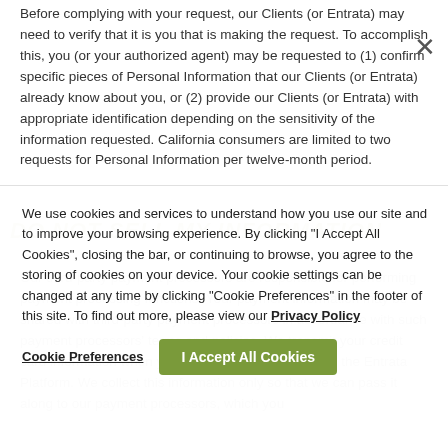Before complying with your request, our Clients (or Entrata) may need to verify that it is you that is making the request. To accomplish this, you (or your authorized agent) may be requested to (1) confirm specific pieces of Personal Information that our Clients (or Entrata) already know about you, or (2) provide our Clients (or Entrata) with appropriate identification depending on the sensitivity of the information requested. California consumers are limited to two requests for Personal Information per twelve-month period.
DO NOT SELL MY INFORMATION
Our third-party payment processors are responsible for performing payment processing functions. Your payment information may be shared with third-party payment processors in accordance with such payment processors' terms and policies. We transmit your credit card information when you initiate a payment through the Entrata Platform. We collect this information only so that we can pass it along to our payment processors, which you authorize by using payment features of the Platform.
We use cookies and services to understand how you use our site and to improve your browsing experience. By clicking "I Accept All Cookies", closing the bar, or continuing to browse, you agree to the storing of cookies on your device. Your cookie settings can be changed at any time by clicking "Cookie Preferences" in the footer of this site. To find out more, please view our Privacy Policy
Cookie Preferences
I Accept All Cookies